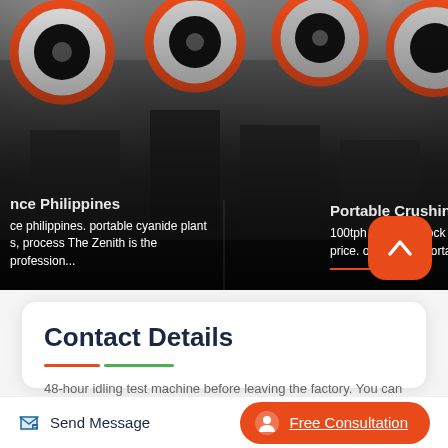[Figure (photo): Industrial machinery photo showing large wheels/flywheels with orange/red rims on heavy equipment, dark background, two overlaid content cards visible]
nce Philippines
ce philippines. portable cyanide plant
s, process The Zenith is the profession...
Portable Crushing P...
100tph Portable Rock Cru...
price. online chat portable
Contact Details
48-hour idling test machine before leaving the factory. You can